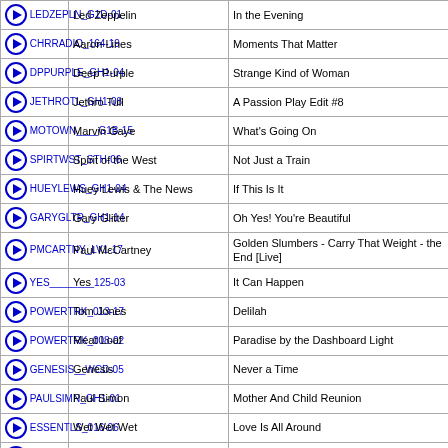|  | Code | Artist | Title |
| --- | --- | --- | --- |
| ▶ | LEDZEPLN_G1D-01 | Led Zeppelin | In the Evening |
| ▶ | CHRRADIO_164-19 | Aaron Lines | Moments That Matter |
| ▶ | DPPURPLE_GH1-04 | Deep Purple | Strange Kind of Woman |
| ▶ | JETHROTL_GH1-08 | Jethro Tull | A Passion Play Edit #8 |
| ▶ | MOTOWN____G1B-15 | Marvin Gaye | What's Going On |
| ▶ | SPIRTWST_STH-06 | Spirit of the West | Not Just a Train |
| ▶ | HUEYLEWS_GH1-04 | Huey Lewis & The News | If This Is It |
| ▶ | GARYGLTR_GH1-14 | Gary Glitter | Oh Yes! You're Beautiful |
| ▶ | PMCARTNY_LV1-17 | Paul McCartney | Golden Slumbers - Carry That Weight - the End [Live] |
| ▶ | YES________125-03 | Yes | It Can Happen |
| ▶ | POWERTRK_013-17 | Tom Jones | Delilah |
| ▶ | POWERTRK_008-02 | Meat Loaf | Paradise by the Dashboard Light |
| ▶ | GENESIS__WCD-05 | Genesis | Never a Time |
| ▶ | PAULSIMN_GH1-01 | Paul Simon | Mother And Child Reunion |
| ▶ | ESSENTLS_016-06 | Wet Wet Wet | Love Is All Around |
| ▶ | CCR________GH2-09 | Creedence Clearwater Revival | It Came Out of the Sky |
| ▶ | POWERTRK_029-15 | The Jackson 5 | I Want You Back |
| ▶ | POWERTRK_165-08 | Blue Oyster Cult | Burnin' for You |
| ▶ | FULLSWNG_001-19 | Duke Ellington & Count Basie | Jumpin' at the Woodside |
| ▶ | ULTSYNTH_01C-10 | Project D | Fourth Rendezvous [Synth Version] |